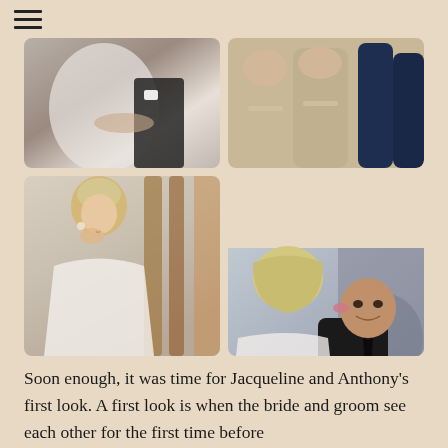[Figure (photo): Top-left wedding photo: close-up of bride in white dress with someone's hand on her back/waist, black jacket visible]
[Figure (photo): Top-right wedding photo: bridesmaids in champagne/taupe dresses with jeweled belts and navy blue dresses in background]
[Figure (photo): Bottom-left wedding photo: blonde bride with updo hairstyle touching her face/wiping tears, wearing strapless lace gown near staircase]
[Figure (photo): Bottom-right wedding photo: blonde bride kissing older man's cheek (likely father), man in black suit with tie, bride holding white bouquet]
Soon enough, it was time for Jacqueline and Anthony's first look. A first look is when the bride and groom see each other for the first time before